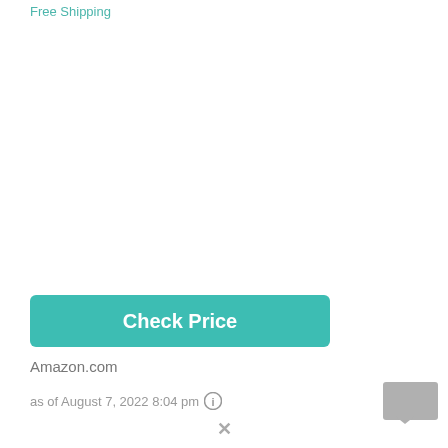Free Shipping
Check Price
Amazon.com
as of August 7, 2022 8:04 pm